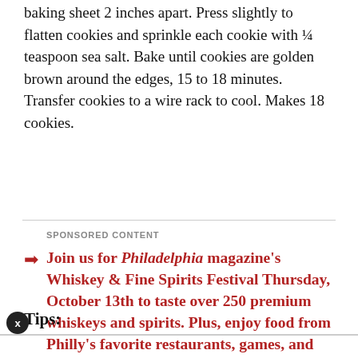baking sheet 2 inches apart. Press slightly to flatten cookies and sprinkle each cookie with ¼ teaspoon sea salt. Bake until cookies are golden brown around the edges, 15 to 18 minutes. Transfer cookies to a wire rack to cool. Makes 18 cookies.
SPONSORED CONTENT
Join us for Philadelphia magazine's Whiskey & Fine Spirits Festival Thursday, October 13th to taste over 250 premium whiskeys and spirits. Plus, enjoy food from Philly's favorite restaurants, games, and more. Buy your tickets now!
Tips: